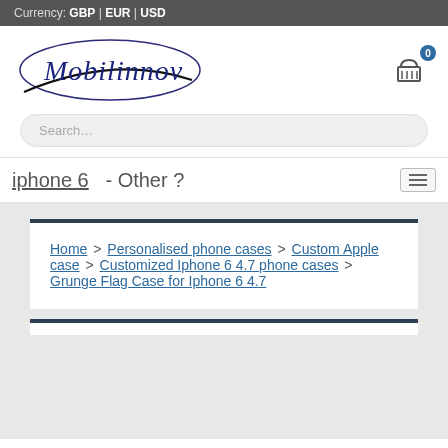Currency: GBP | EUR | USD
[Figure (logo): Mobilinnov cursive logo with ellipse and swoosh]
[Figure (other): Shopping cart icon with badge showing 0]
Search...
iphone 6  - Other ?
Home > Personalised phone cases > Custom Apple case > Customized Iphone 6 4.7 phone cases > Grunge Flag Case for Iphone 6 4.7